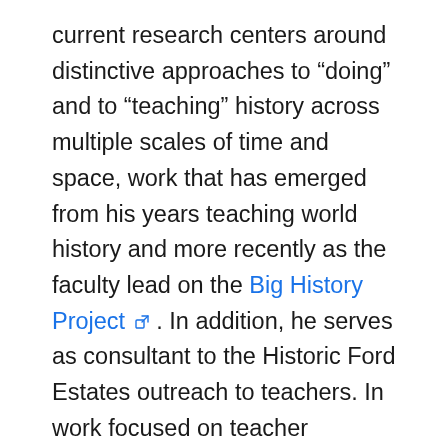current research centers around distinctive approaches to “doing” and to “teaching” history across multiple scales of time and space, work that has emerged from his years teaching world history and more recently as the faculty lead on the Big History Project . In addition, he serves as consultant to the Historic Ford Estates outreach to teachers. In work focused on teacher learning, Bain and colleague Elizabeth Birr Moje developed Teaching and Learning the Disciplines through Clinical Practice Rounds , an approach to learning to teach that stresses discipline-based adolescent literacy teacher education. In 2018, the Provost of the...